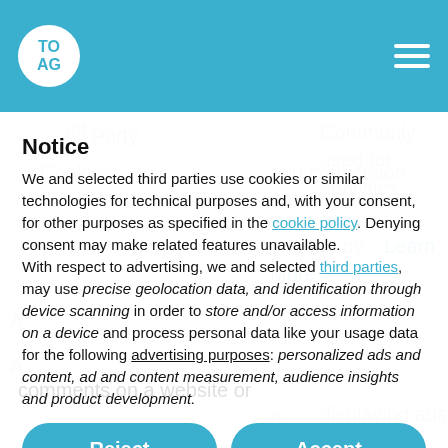[Figure (logo): TOAG logo: white circle with TO and AG text in teal, on teal header bar with hamburger menu icon]
Notice
We and selected third parties use cookies or similar technologies for technical purposes and, with your consent, for other purposes as specified in the cookie policy. Denying consent may make related features unavailable.
With respect to advertising, we and selected third parties, may use precise geolocation data, and identification through device scanning in order to store and/or access information on a device and process personal data like your usage data for the following advertising purposes: personalized ads and content, ad and content measurement, audience insights and product development.
Reject
Accept
Learn more and customize